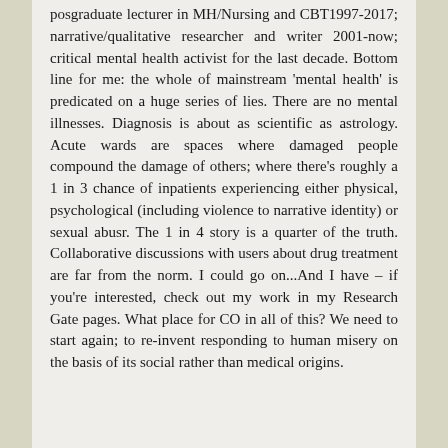posgraduate lecturer in MH/Nursing and CBT1997-2017; narrative/qualitative researcher and writer 2001-now; critical mental health activist for the last decade. Bottom line for me: the whole of mainstream 'mental health' is predicated on a huge series of lies. There are no mental illnesses. Diagnosis is about as scientific as astrology. Acute wards are spaces where damaged people compound the damage of others; where there's roughly a 1 in 3 chance of inpatients experiencing either physical, psychological (including violence to narrative identity) or sexual abusr. The 1 in 4 story is a quarter of the truth. Collaborative discussions with users about drug treatment are far from the norm. I could go on...And I have – if you're interested, check out my work in my Research Gate pages. What place for CO in all of this? We need to start again; to re-invent responding to human misery on the basis of its social rather than medical origins. More to Come, the place of the last And...